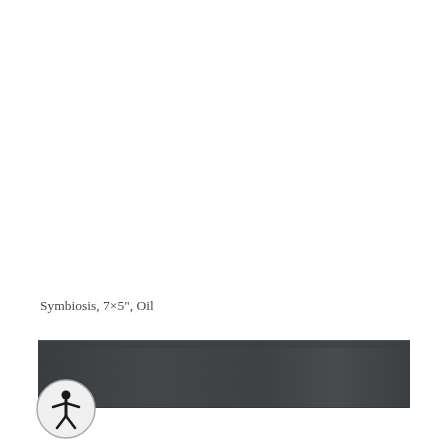Symbiosis, 7×5", Oil
[Figure (photo): A dark charcoal/slate colored horizontal band or strip, appearing to be a textured dark painting or artwork surface, spanning nearly the full width of the page.]
[Figure (illustration): Accessibility icon: a circle with a stick figure person inside, indicating accessibility features.]